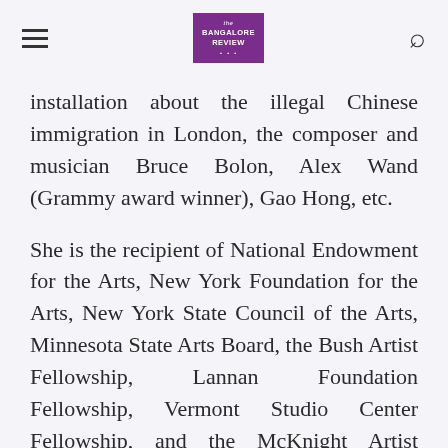the Bangalore Review [logo] [hamburger menu] [search icon]
installation about the illegal Chinese immigration in London, the composer and musician Bruce Bolon, Alex Wand (Grammy award winner), Gao Hong, etc.
She is the recipient of National Endowment for the Arts, New York Foundation for the Arts, New York State Council of the Arts, Minnesota State Arts Board, the Bush Artist Fellowship, Lannan Foundation Fellowship, Vermont Studio Center Fellowship, and the McKnight Artist Fellowship. She received her Distinct Immigrant Award in 2014, and Venezuela International Poet of Honor in